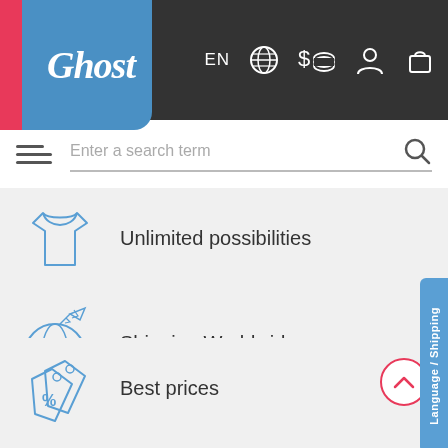[Figure (screenshot): Ghost e-commerce website header with logo, language/currency selector (EN, globe, dollar, coins icons), user account icon, and shopping bag icon on dark background]
[Figure (screenshot): Search bar with hamburger menu icon and placeholder text 'Enter a search term' with magnifying glass icon]
[Figure (illustration): Blue outline icon of a shirt/clothing item]
Unlimited possibilities
[Figure (illustration): Blue outline icon of a globe with airplane flying around it - representing worldwide shipping]
Shipping Worldwide
[Figure (illustration): Blue outline icon of two price/sale tags with percentage symbol]
Best prices
[Figure (illustration): Side tab button with text 'Language / Shipping' in white on blue background]
[Figure (illustration): Pink/red circle with upward chevron arrow - back to top button]